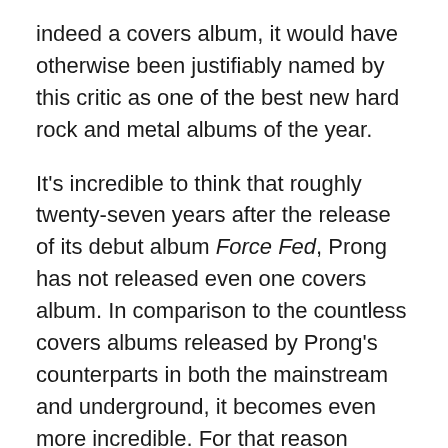indeed a covers album, it would have otherwise been justifiably named by this critic as one of the best new hard rock and metal albums of the year.
It's incredible to think that roughly twenty-seven years after the release of its debut album Force Fed, Prong has not released even one covers album. In comparison to the countless covers albums released by Prong's counterparts in both the mainstream and underground, it becomes even more incredible. For that reason alone, founder and sole original member Tommy Victor is to be commended for holding his ground. Audiences that pick up this record will agree in listening to Songs From The Black Hole that Victor is just as worthy of applause for the covers chosen for this record. Right off the top, the album grabs listeners and refuses to let go with its cover of Discharge's 'Doomsday.' The song title sounds ominous, like a